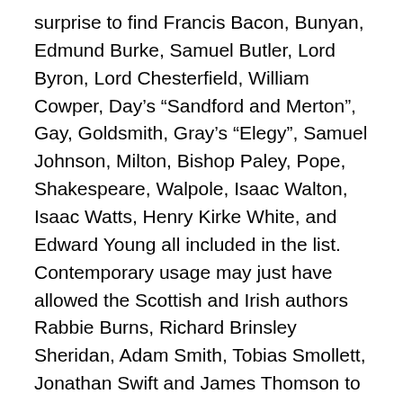surprise to find Francis Bacon, Bunyan, Edmund Burke, Samuel Butler, Lord Byron, Lord Chesterfield, William Cowper, Day's “Sandford and Merton”, Gay, Goldsmith, Gray’s “Elegy”, Samuel Johnson, Milton, Bishop Paley, Pope, Shakespeare, Walpole, Isaac Walton, Isaac Watts, Henry Kirke White, and Edward Young all included in the list.  Contemporary usage may just have allowed the Scottish and Irish authors Rabbie Burns, Richard Brinsley Sheridan, Adam Smith, Tobias Smollett, Jonathan Swift and James Thomson to be included in this general category of “English”, but probably not the American Benjamin Franklin – still less Homer, Horace, Ovid and Virgil – unless translations by Pope and Dryden make them so.  Elsewhere in the series, we also find the not obviously “English” Sophie Ristaud Cottin, François Fénelon, Jean-Pierre Claris de Florian, Alain-René